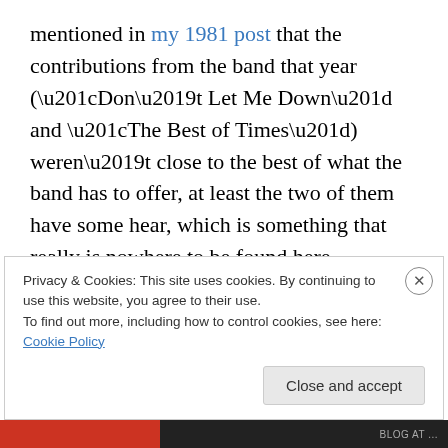mentioned in my 1981 post that the contributions from the band that year (“Don’t Let Me Down” and “The Best of Times”) weren’t close to the best of what the band has to offer, at least the two of them have some hear, which is something that really is nowhere to be found here. It’s just so utterly bland, from start to finish, like a rejected melodramatic heartbreak song that not even Manilow nor Air Supply would attempt. The chorus is little more than just the title repeated again and again, something that always peeves me. Even the guitar solo is a bore! This is just pointless.
Privacy & Cookies: This site uses cookies. By continuing to use this website, you agree to their use.
To find out more, including how to control cookies, see here: Cookie Policy